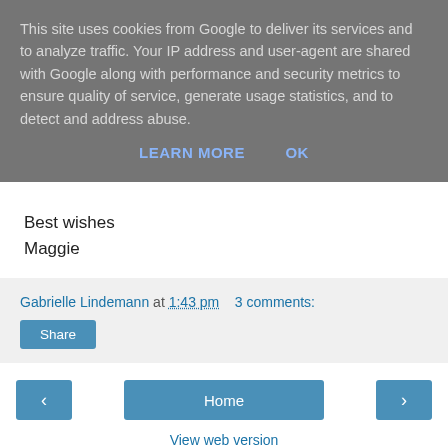This site uses cookies from Google to deliver its services and to analyze traffic. Your IP address and user-agent are shared with Google along with performance and security metrics to ensure quality of service, generate usage statistics, and to detect and address abuse.
LEARN MORE   OK
Best wishes
Maggie
Gabrielle Lindemann at 1:43 pm   3 comments:
Share
Home
View web version
Powered by Blogger.